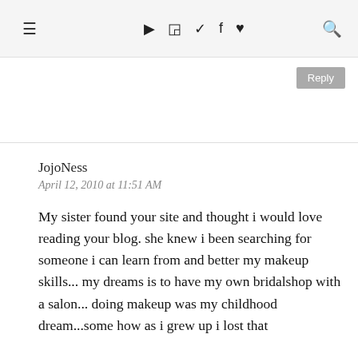≡ ▶ 📷 🐦 f ♥ 🔍
Reply
JojoNess
April 12, 2010 at 11:51 AM

My sister found your site and thought i would love reading your blog. she knew i been searching for someone i can learn from and better my makeup skills... my dreams is to have my own bridalshop with a salon... doing makeup was my childhood dream...some how as i grew up i lost that